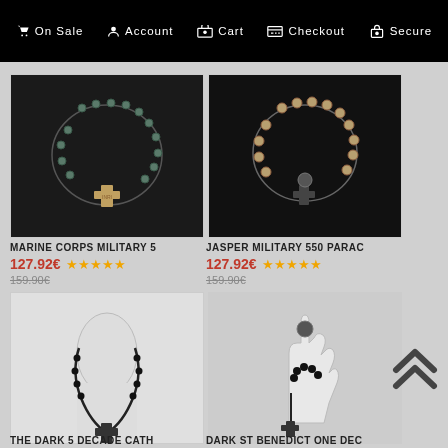On Sale  Account  Cart  Checkout  Secure
[Figure (photo): Black rosary with silver cross pendant on dark background]
MARINE CORPS MILITARY 5
127.92€  ★★★★★  159.90€
[Figure (photo): Tan/brown beaded rosary with ornate cross on dark background]
JASPER MILITARY 550 PARAC
127.92€  ★★★★★  159.90€
[Figure (photo): Black rosary worn as necklace on white mannequin]
[Figure (photo): Black rosary chaplet on white hand mannequin]
THE DARK 5 DECADE CATH
DARK ST BENEDICT ONE DEC